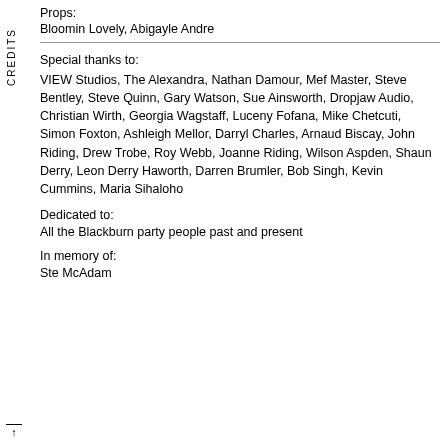Props:
Bloomin Lovely, Abigayle Andre
Special thanks to:
VIEW Studios, The Alexandra, Nathan Damour, Mef Master, Steve Bentley, Steve Quinn, Gary Watson, Sue Ainsworth, Dropjaw Audio, Christian Wirth, Georgia Wagstaff, Luceny Fofana, Mike Chetcuti, Simon Foxton, Ashleigh Mellor, Darryl Charles, Arnaud Biscay, John Riding, Drew Trobe, Roy Webb, Joanne Riding, Wilson Aspden, Shaun Derry, Leon Derry Haworth, Darren Brumler, Bob Singh, Kevin Cummins, Maria Sihaloho
Dedicated to:
All the Blackburn party people past and present
In memory of:
Ste McAdam